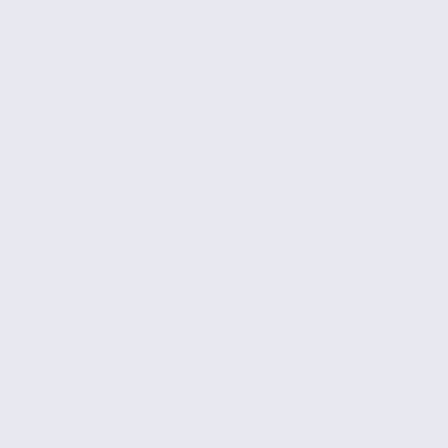[Figure (screenshot): A diff/code view split into two panels. The left panel is a light lavender/grey background (empty). The right panel shows a code diff with lines beginning with -, +, and # symbols, showing Apache configuration changes including Directory, SSLOptions, VirtualHost, DocumentRoot, ServerName, ServerAdmin, ErrorLog, TransferLog, SSLEngine, SSLCipherSuite, SSLCertificateFile, SSLCertificateKeyFile, SSLProtocol, SSLHonorCipherOrder, SSLCompression directives.]